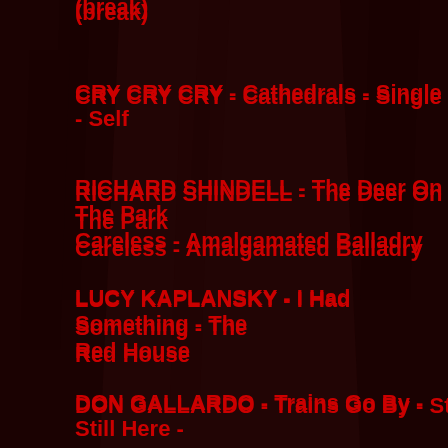(break)
CRY CRY CRY - Cathedrals - Single - Self
RICHARD SHINDELL - The Deer On The Park Careless - Amalgamated Balladry
LUCY KAPLANSKY - I Had Something - The Red House
DON GALLARDO - Trains Go By - Still Here -
(break)
DARLINGSIDE - Futures - Extralife - More Do
CROSBY, STILLS & NASH - You Don't Have